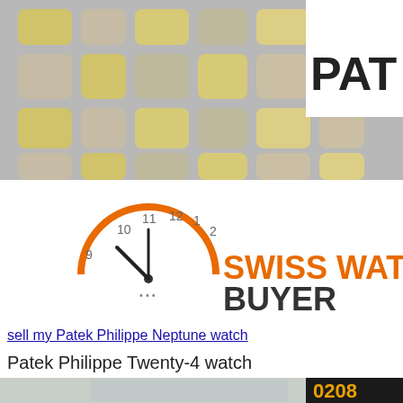[Figure (photo): Top banner showing a Patek Philippe watch bracelet with gold and silver links, with 'PATI' text partially visible on the right]
[Figure (logo): Swiss Watch Buyer logo with orange clock illustration and 'SWISSWATCHBUYER' text in orange and dark grey]
sell my Patek Philippe Neptune watch
Patek Philippe Twenty-4 watch
[Figure (photo): Patek Philippe Twenty-4 ladies watch with diamond-set bezel and black dial showing Roman numerals, with partial dark panel showing '0208' phone number and bullet points starting with 'We Wa' and 'Bes Mo']